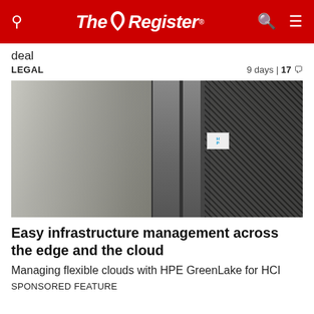The Register
deal
LEGAL | 9 days | 17
[Figure (photo): Two people (a man and a woman) walking through a data center corridor with server racks, shown in black and white / grayscale. Right side shows close-up of server rack with mesh/lattice pattern.]
Easy infrastructure management across the edge and the cloud
Managing flexible clouds with HPE GreenLake for HCI
SPONSORED FEATURE